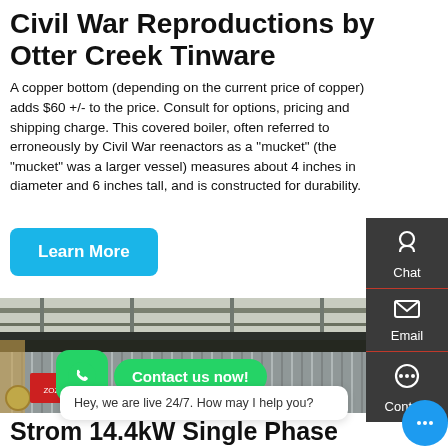Civil War Reproductions by Otter Creek Tinware
A copper bottom (depending on the current price of copper) adds $60 +/- to the price. Consult for options, pricing and shipping charge. This covered boiler, often referred to erroneously by Civil War reenactors as a "mucket" (the "mucket" was a larger vessel) measures about 4 inches in diameter and 6 inches tall, and is constructed for durability.
[Figure (screenshot): Learn More button (cyan/blue rounded rectangle)]
[Figure (photo): Industrial building interior with corrugated metal walls and overhead crane structure. WhatsApp icon and 'Contact us now!' green bubble overlay visible. Live chat bubble: 'Hey, we are live 24/7. How may I help you?']
Strom 14.4kW Single Phase